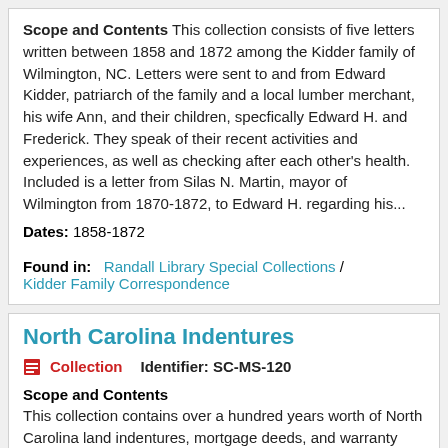Scope and Contents This collection consists of five letters written between 1858 and 1872 among the Kidder family of Wilmington, NC. Letters were sent to and from Edward Kidder, patriarch of the family and a local lumber merchant, his wife Ann, and their children, specfically Edward H. and Frederick. They speak of their recent activities and experiences, as well as checking after each other's health. Included is a letter from Silas N. Martin, mayor of Wilmington from 1870-1872, to Edward H. regarding his...
Dates: 1858-1872
Found in: Randall Library Special Collections / Kidder Family Correspondence
North Carolina Indentures
Collection   Identifier: SC-MS-120
Scope and Contents
This collection contains over a hundred years worth of North Carolina land indentures, mortgage deeds, and warranty deeds, mostly in Brunswick County. Three documents refer specifically to lots of land in the city